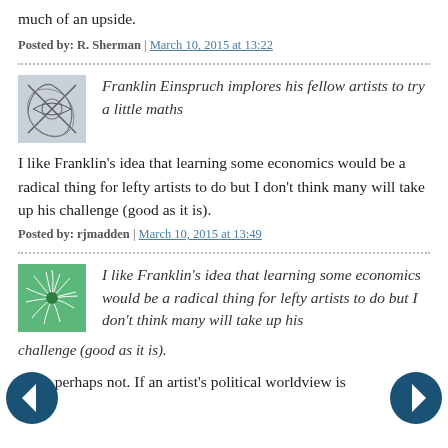much of an upside.
Posted by: R. Sherman | March 10, 2015 at 13:22
[Figure (illustration): Abstract line drawing avatar image (gray/blue tones)]
Franklin Einspruch implores his fellow artists to try a little maths
I like Franklin's idea that learning some economics would be a radical thing for lefty artists to do but I don't think many will take up his challenge (good as it is).
Posted by: rjmadden | March 10, 2015 at 13:49
[Figure (illustration): Green spiral/sunflower pattern avatar image]
I like Franklin's idea that learning some economics would be a radical thing for lefty artists to do but I don't think many will take up his challenge (good as it is).
Well, perhaps not. If an artist's political worldview is